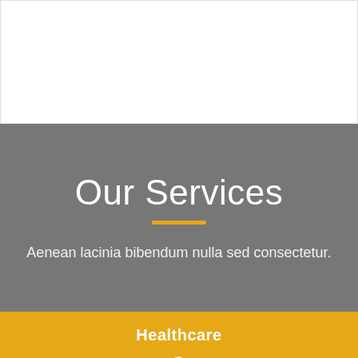[Figure (other): White box at top of page, appears to be a header image placeholder]
Our Services
Aenean lacinia bibendum nulla sed consectetur.
Healthcare
[Figure (illustration): Partial dollar sign icon visible at the very bottom of the page on a gold background]